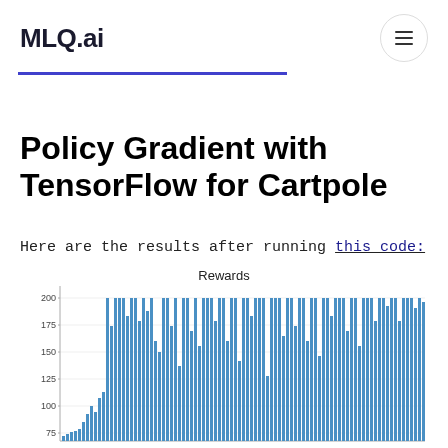MLQ.ai
Policy Gradient with TensorFlow for Cartpole
Here are the results after running this code:
[Figure (bar-chart): Bar chart showing rewards over training episodes for a CartPole policy gradient agent. Y-axis ranges from ~75 to 200. Bars start low and generally increase, with most later bars near 200.]